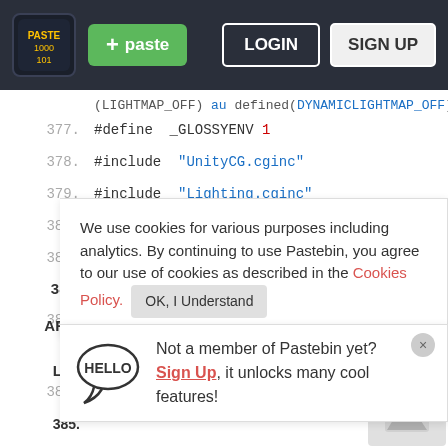Pastebin navigation bar with paste button, LOGIN and SIGN UP buttons
[Figure (screenshot): Pastebin website screenshot showing code editor with shader code lines 377-388, cookie consent overlay, and Sign Up popup]
We use cookies for various purposes including analytics. By continuing to use Pastebin, you agree to our use of cookies as described in the Cookies Policy. OK, I Understand
Not a member of Pastebin yet? Sign Up, it unlocks many cool features!